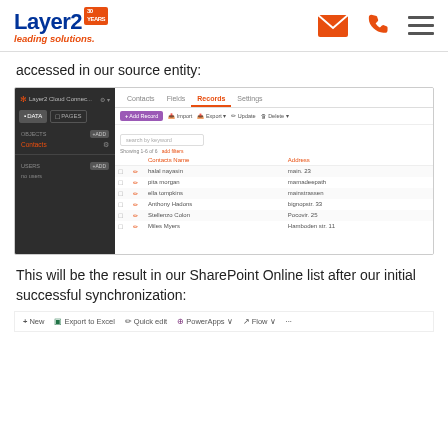Layer2 leading solutions. [header with logo, email icon, phone icon, menu icon]
accessed in our source entity:
[Figure (screenshot): Layer2 Cloud Connector interface showing Contacts entity with Records tab selected. Left sidebar shows DATA/PAGES tabs, OBJECTS section with +ADD, Contacts item, USERS section with +ADD and 'no users'. Right panel shows Contacts / Fields / Records / Settings tabs with Records active. Toolbar has +Add Record, Import, Export, Update, Delete buttons. A search box is shown with 'Showing 1-6 of 6' and 'add filters'. A data table shows two columns: Contacts Name and Address, with 6 rows of contact data.]
This will be the result in our SharePoint Online list after our initial successful synchronization:
[Figure (screenshot): SharePoint Online list toolbar showing: + New, Export to Excel, Quick edit, PowerApps, Flow options]